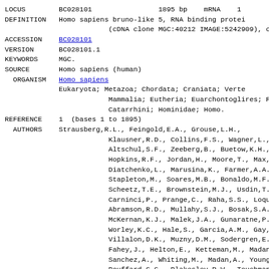LOCUS       BC028101                1895 bp    mRNA    1
DEFINITION  Homo sapiens bruno-like 5, RNA binding prote (cDNA clone MGC:40212 IMAGE:5242909), complet
ACCESSION   BC028101
VERSION     BC028101.1
KEYWORDS    MGC.
SOURCE      Homo sapiens (human)
ORGANISM  Homo sapiens
Eukaryota; Metazoa; Chordata; Craniata; Verte Mammalia; Eutheria; Euarchontoglires; Primate Catarrhini; Hominidae; Homo.
REFERENCE   1  (bases 1 to 1895)
AUTHORS   Strausberg,R.L., Feingold,E.A., Grouse,L.H., Klausner,R.D., Collins,F.S., Wagner,L., Shen Altschul,S.F., Zeeberg,B., Buetow,K.H., Scha Hopkins,R.F., Jordan,H., Moore,T., Max,S.I., Diatchenko,L., Marusina,K., Farmer,A.A., Rub Stapleton,M., Soares,M.B., Bonaldo,M.F., Cas Scheetz,T.E., Brownstein,M.J., Usdin,T.B., T Carninci,P., Prange,C., Raha,S.S., Loquellan Abramson,R.D., Mullahy,S.J., Bosak,S.A., McE McKernan,K.J., Malek,J.A., Gunaratne,P.H., R Worley,K.C., Hale,S., Garcia,A.M., Gay,L.J., Villalon,D.K., Muzny,D.M., Sodergren,E.J., L Fahey,J., Helton,E., Ketteman,M., Madan,A., Sanchez,A., Whiting,M., Madan,A., Young,A.C., Bouffard,G.G., Blakesley,R.W., Touchman,J.W. Dickson,M.C., Rodriguez,A.C., Grimwood,J., S Butterfield,Y.S., Krzywinski,M.I., Skalska,U Schranch,A., Schein,J.E., Jones,S.J. and Mar